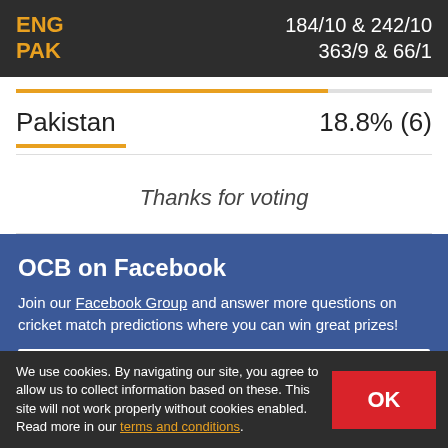ENG 184/10 & 242/10  PAK 363/9 & 66/1
Pakistan   18.8% (6)
Thanks for voting
OCB on Facebook
Join our Facebook Group and answer more questions on cricket match predictions where you can win great prizes!
Click here to join!
We use cookies. By navigating our site, you agree to allow us to collect information based on these. This site will not work properly without cookies enabled. Read more in our terms and conditions.